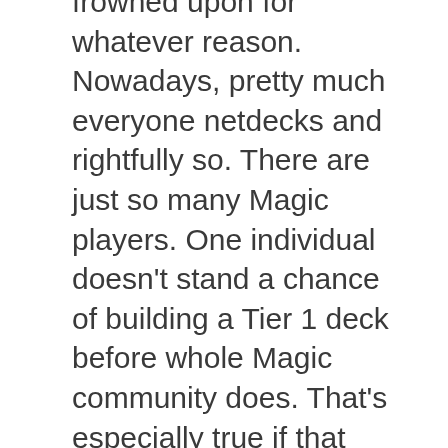frowned upon for whatever reason. Nowadays, pretty much everyone netdecks and rightfully so. There are just so many Magic players. One individual doesn't stand a chance of building a Tier 1 deck before whole Magic community does. That's especially true if that individual is just starting out.
You should first focus on copying the decks from the best players, learn how to play with them and learn their ins and outs.
On the other hand there is value in building decks on your own, even if you don't build the next tournament-winning monstrosity. You learn what makes a deck work and what